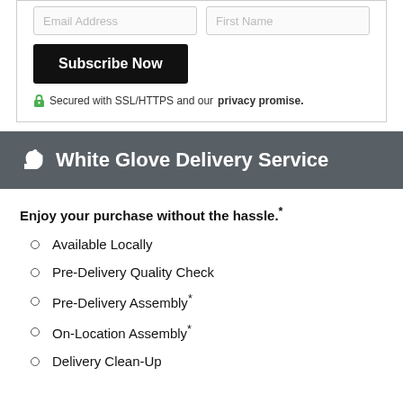[Figure (screenshot): Email Address and First Name input fields at top of subscription form]
Subscribe Now
Secured with SSL/HTTPS and our privacy promise.
White Glove Delivery Service
Enjoy your purchase without the hassle.*
Available Locally
Pre-Delivery Quality Check
Pre-Delivery Assembly*
On-Location Assembly*
Delivery Clean-Up